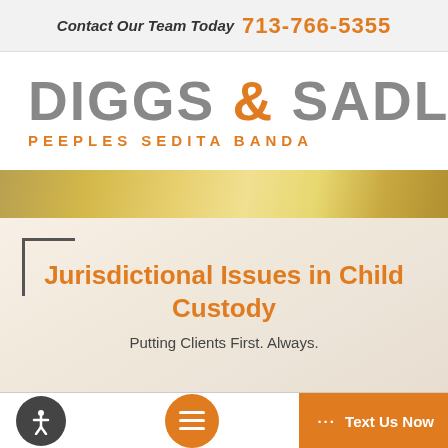Contact Our Team Today 713-766-5355
DIGGS & SADLER
PEEPLES SEDITA BANDA
[Figure (photo): Abstract warm gold/yellow blurred background image, likely a courtroom or legal setting]
Jurisdictional Issues in Child Custody
Putting Clients First. Always.
Schedule Consultation
··· Text Us Now